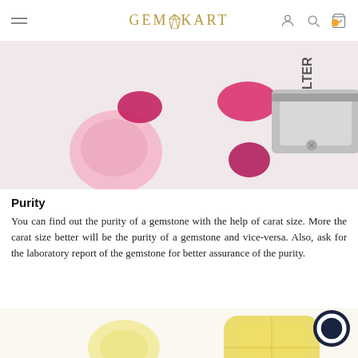GEMKART
[Figure (photo): Pink and magenta gemstones scattered on a white surface with a jeweler's loupe/magnifier tool on the right side]
Purity
You can find out the purity of a gemstone with the help of carat size. More the carat size better will be the purity of a gemstone and vice-versa. Also, ask for the laboratory report of the gemstone for better assurance of the purity.
[Figure (photo): Two pale yellow/citrine gemstones on white background, with a dark circular chat bubble icon in the bottom right]